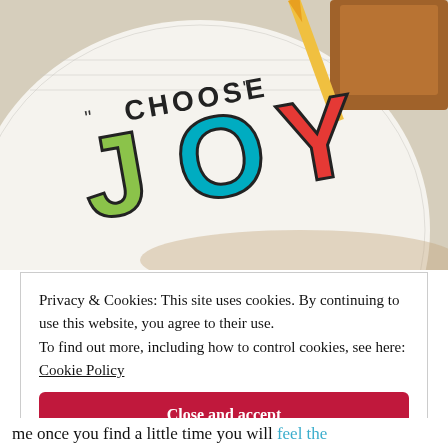[Figure (photo): Photo of a journal page with colorful hand-lettered 'CHOOSE JOY' text. The J is green, O is teal/blue, Y is red/orange. A pencil and brown leather item are visible in the background.]
Privacy & Cookies: This site uses cookies. By continuing to use this website, you agree to their use.
To find out more, including how to control cookies, see here: Cookie Policy
Close and accept
me once you find a little time you will feel the